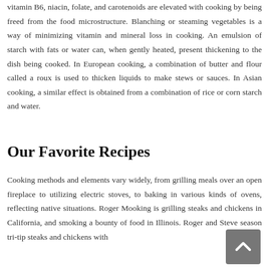vitamin B6, niacin, folate, and carotenoids are elevated with cooking by being freed from the food microstructure. Blanching or steaming vegetables is a way of minimizing vitamin and mineral loss in cooking. An emulsion of starch with fats or water can, when gently heated, present thickening to the dish being cooked. In European cooking, a combination of butter and flour called a roux is used to thicken liquids to make stews or sauces. In Asian cooking, a similar effect is obtained from a combination of rice or corn starch and water.
Our Favorite Recipes
Cooking methods and elements vary widely, from grilling meals over an open fireplace to utilizing electric stoves, to baking in various kinds of ovens, reflecting native situations. Roger Mooking is grilling steaks and chickens in California, and smoking a bounty of food in Illinois. Roger and Steve season tri-tip steaks and chickens with